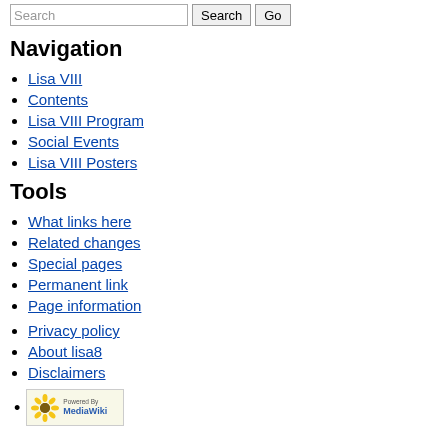Navigation
Lisa VIII
Contents
Lisa VIII Program
Social Events
Lisa VIII Posters
Tools
What links here
Related changes
Special pages
Permanent link
Page information
Privacy policy
About lisa8
Disclaimers
[Figure (logo): Powered by MediaWiki badge with sunflower logo]